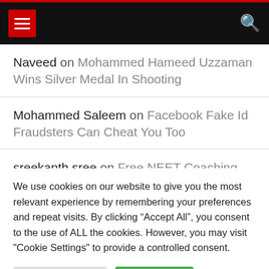Navigation header with hamburger menu and search icon
Naveed on Mohammed Hameed Uzzaman Wins Silver Medal In Shooting
Mohammed Saleem on Facebook Fake Id Fraudsters Can Cheat You Too
sreekanth sree on Free NEET Coaching and
We use cookies on our website to give you the most relevant experience by remembering your preferences and repeat visits. By clicking “Accept All”, you consent to the use of ALL the cookies. However, you may visit "Cookie Settings" to provide a controlled consent.
Cookie Settings | Accept All